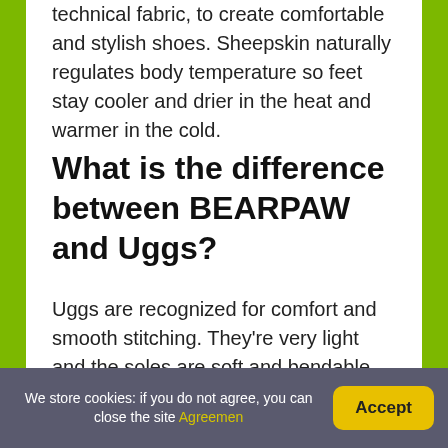technical fabric, to create comfortable and stylish shoes. Sheepskin naturally regulates body temperature so feet stay cooler and drier in the heat and warmer in the cold.
What is the difference between BEARPAW and Uggs?
Uggs are recognized for comfort and smooth stitching. They're very light and the soles are soft and bendable. Bearpaw, however, features visible stitching on its boots and they 're slightly firmer than Uggs. People also tend to suggest that
We store cookies: if you do not agree, you can close the site Agreemen